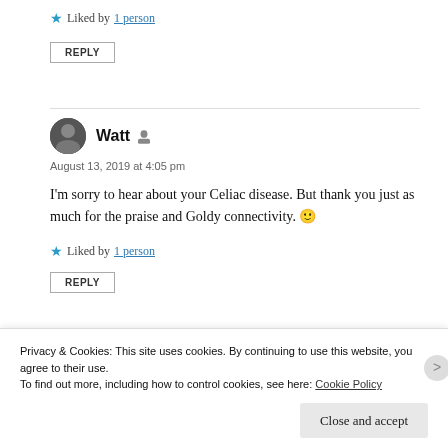★ Liked by 1 person
REPLY
Watt — August 13, 2019 at 4:05 pm
I'm sorry to hear about your Celiac disease. But thank you just as much for the praise and Goldy connectivity. 🙂
★ Liked by 1 person
REPLY
Privacy & Cookies: This site uses cookies. By continuing to use this website, you agree to their use. To find out more, including how to control cookies, see here: Cookie Policy
Close and accept